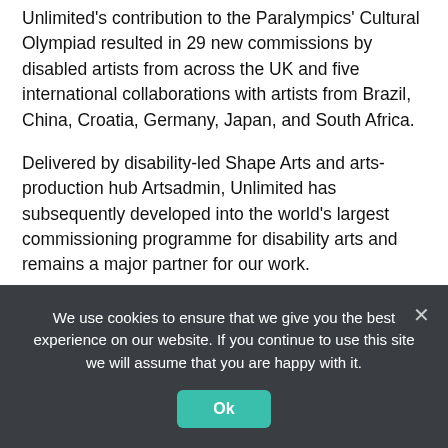Unlimited's contribution to the Paralympics' Cultural Olympiad resulted in 29 new commissions by disabled artists from across the UK and five international collaborations with artists from Brazil, China, Croatia, Germany, Japan, and South Africa.
Delivered by disability-led Shape Arts and arts-production hub Artsadmin, Unlimited has subsequently developed into the world's largest commissioning programme for disability arts and remains a major partner for our work.
Jo Verrent, Senior Producer for Unlimited and member of the defining Disability Arts Movement, reflected on Unlimited and its impact on disability arts:
“All sounds great, doesn't it? And in the most part it is
We use cookies to ensure that we give you the best experience on our website. If you continue to use this site we will assume that you are happy with it.